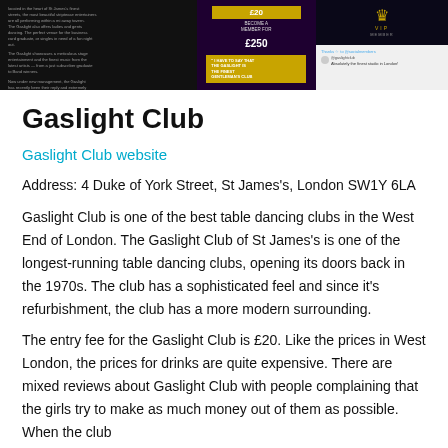[Figure (photo): Banner image of Gaslight Club with dark background showing club promotional materials, VIP section, membership pricing (£20 entry, £250 membership), quote about the club being the finest gentleman's club, and a tweet/review screenshot.]
Gaslight Club
Gaslight Club website
Address: 4 Duke of York Street, St James's, London SW1Y 6LA
Gaslight Club is one of the best table dancing clubs in the West End of London. The Gaslight Club of St James's is one of the longest-running table dancing clubs, opening its doors back in the 1970s. The club has a sophisticated feel and since it's refurbishment, the club has a more modern surrounding.
The entry fee for the Gaslight Club is £20. Like the prices in West London, the prices for drinks are quite expensive. There are mixed reviews about Gaslight Club with people complaining that the girls try to make as much money out of them as possible. When the club